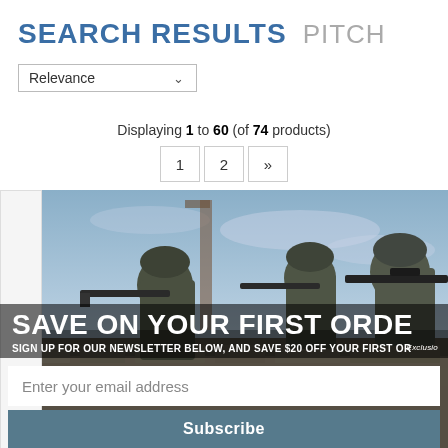SEARCH RESULTS   PITCH
Relevance
Displaying 1 to 60 (of 74 products)
1  2  »
[Figure (photo): Military soldiers in camouflage gear with rifles in a tactical position with a popup promotional banner overlay showing 'SAVE ON YOUR FIRST ORDER' with an email subscription form below.]
SAVE ON YOUR FIRST ORDE
SIGN UP FOR OUR NEWSLETTER BELOW, AND SAVE $20 OFF YOUR FIRST OR
Enter your email address
Subscribe